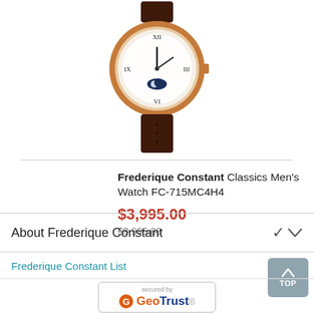[Figure (photo): Frederique Constant luxury watch with rose gold case, white dial with moon phase complication, Roman numerals, and dark brown leather strap, photographed on white background]
Frederique Constant Classics Men's Watch FC-715MC4H4
$3,995.00
$3,995.00 (strikethrough)
About Frederique Constant
Frederique Constant List
[Figure (logo): GeoTrust SSL security badge reading 'secured by GeoTrust' with orange G logo icon]